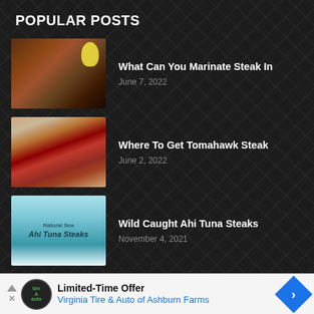POPULAR POSTS
What Can You Marinate Steak In — June 7, 2022
Where To Get Tomahawk Steak — June 2, 2022
Wild Caught Ahi Tuna Steaks — November 4, 2021
Limited-Time Offer — Virginia Tire & Auto of Ashburn Farms